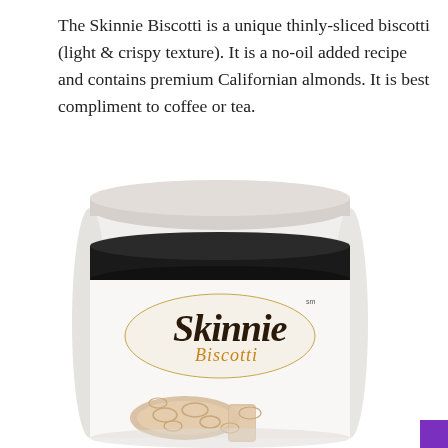The Skinnie Biscotti is a unique thinly-sliced biscotti (light & crispy texture). It is a no-oil added recipe and contains premium Californian almonds. It is best compliment to coffee or tea.
[Figure (photo): A cylindrical container of Skinnie Biscotti with a light grey/white lid and a black band near the top. The label shows the Skinnie Biscotti logo in dark serif font with gold 'Biscotti' text, set against a white background. Below the logo are visible almond biscotti slices.]